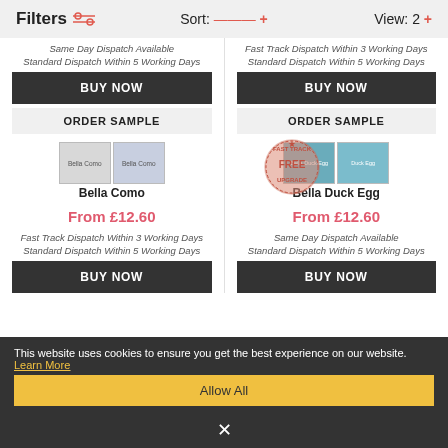Filters  Sort: ---  + View: 2 +
Same Day Dispatch Available
Fast Track Dispatch Within 3 Working Days
Standard Dispatch Within 5 Working Days
Standard Dispatch Within 5 Working Days
BUY NOW
BUY NOW
ORDER SAMPLE
ORDER SAMPLE
[Figure (photo): Bella Como fabric swatch images (two small thumbnails)]
Bella Como
[Figure (photo): Bella Duck Egg fabric swatch images with Fast Track Free Upgrade badge]
Bella Duck Egg
From £12.60
From £12.60
Fast Track Dispatch Within 3 Working Days
Same Day Dispatch Available
Standard Dispatch Within 5 Working Days
Standard Dispatch Within 5 Working Days
BUY NOW
BUY NOW
This website uses cookies to ensure you get the best experience on our website. Learn More
Allow All
×